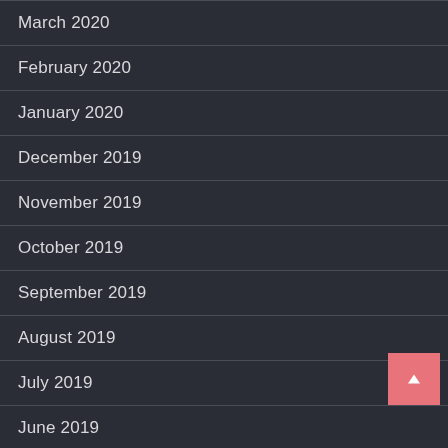March 2020
February 2020
January 2020
December 2019
November 2019
October 2019
September 2019
August 2019
July 2019
June 2019
May 2019